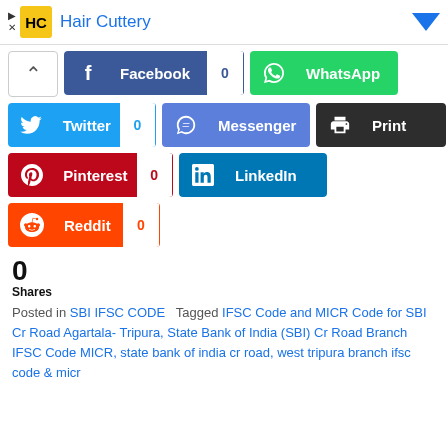[Figure (screenshot): Hair Cuttery advertisement banner with logo]
[Figure (screenshot): Social share buttons: Facebook (0), WhatsApp, Twitter (0), Messenger, Print, Pinterest (0), LinkedIn, Reddit (0), with up-arrow toggle]
0 Shares
Posted in SBI IFSC CODE   Tagged IFSC Code and MICR Code for SBI Cr Road Agartala- Tripura, State Bank of India (SBI) Cr Road Branch IFSC Code MICR, state bank of india cr road, west tripura branch ifsc code & micr